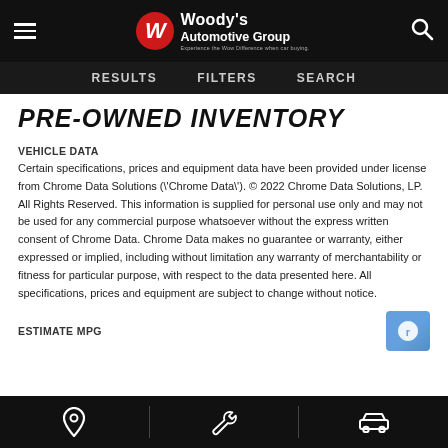Woody's Automotive Group — Navigation header with hamburger menu, logo, and search icon
RESULTS   FILTERS   SEARCH
PRE-OWNED INVENTORY
VEHICLE DATA
Certain specifications, prices and equipment data have been provided under license from Chrome Data Solutions (\'Chrome Data\'). © 2022 Chrome Data Solutions, LP. All Rights Reserved. This information is supplied for personal use only and may not be used for any commercial purpose whatsoever without the express written consent of Chrome Data. Chrome Data makes no guarantee or warranty, either expressed or implied, including without limitation any warranty of merchantability or fitness for particular purpose, with respect to the data presented here. All specifications, prices and equipment are subject to change without notice.
ESTIMATE MPG
Bottom navigation bar with location, wrench, and car icons